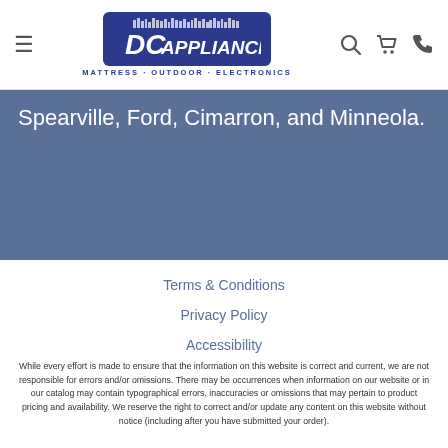DC Appliance - Mattress · Outdoor · Electronics (navigation bar)
Spearville, Ford, Cimarron, and Minneola.
Terms & Conditions
Privacy Policy
Accessibility
While every effort is made to ensure that the information on this website is correct and current, we are not responsible for errors and/or omissions. There may be occurrences when information on our website or in our catalog may contain typographical errors, inaccuracies or omissions that may pertain to product pricing and availability. We reserve the right to correct and/or update any content on this website without notice (including after you have submitted your order).